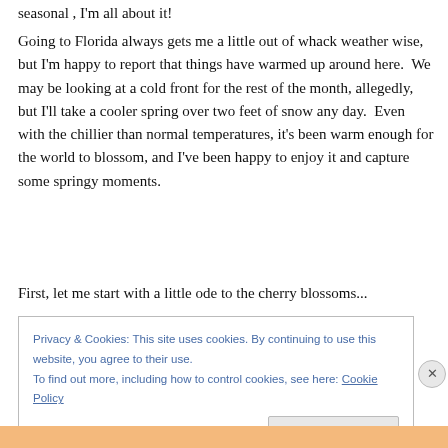seasonal , I'm all about it!
Going to Florida always gets me a little out of whack weather wise, but I'm happy to report that things have warmed up around here.  We may be looking at a cold front for the rest of the month, allegedly, but I'll take a cooler spring over two feet of snow any day.  Even with the chillier than normal temperatures, it's been warm enough for the world to blossom, and I've been happy to enjoy it and capture some springy moments.
First, let me start with a little ode to the cherry blossoms...
Privacy & Cookies: This site uses cookies. By continuing to use this website, you agree to their use.
To find out more, including how to control cookies, see here: Cookie Policy
Close and accept